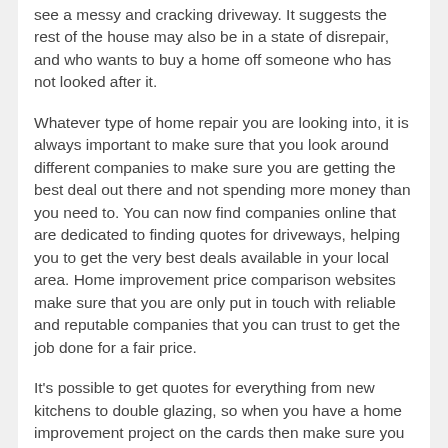see a messy and cracking driveway. It suggests the rest of the house may also be in a state of disrepair, and who wants to buy a home off someone who has not looked after it.
Whatever type of home repair you are looking into, it is always important to make sure that you look around different companies to make sure you are getting the best deal out there and not spending more money than you need to. You can now find companies online that are dedicated to finding quotes for driveways, helping you to get the very best deals available in your local area. Home improvement price comparison websites make sure that you are only put in touch with reliable and reputable companies that you can trust to get the job done for a fair price.
It's possible to get quotes for everything from new kitchens to double glazing, so when you have a home improvement project on the cards then make sure you look on the internet to find you perfect partner.